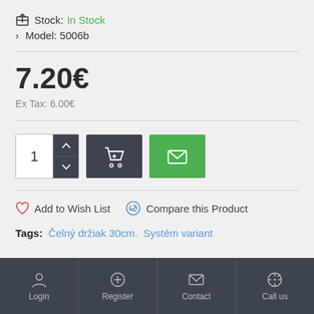Stock: In Stock
Model: 5006b
7.20€
Ex Tax: 6.00€
[Figure (screenshot): Product action buttons: quantity selector with up/down arrows, dark cart button with basket icon, green mail/envelope button]
Add to Wish List   Compare this Product
Tags: Čelný držiak 30cm.   Systém variant
Login   Register   Contact   Call us